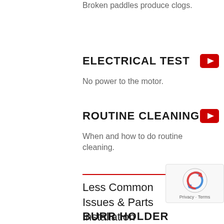Broken paddles produce clogs.
ELECTRICAL TEST
No power to the motor.
ROUTINE CLEANING
When and how to do routine cleaning.
Less Common Issues & Parts Installation
BURR HOLDER